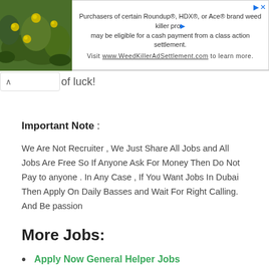[Figure (photo): Advertisement banner with a photo of yellow flowers on green leaves on the left, and text about Roundup/HDX/Ace weed killer class action settlement on the right.]
of luck!
Important Note :
We Are Not Recruiter , We Just Share All Jobs and All Jobs Are Free So If Anyone Ask For Money Then Do Not Pay to anyone . In Any Case , If You Want Jobs In Dubai Then Apply On Daily Basses and Wait For Right Calling. And Be passion
More Jobs:
Apply Now General Helper Jobs
Apply Now Merchandiser Jobs
Apply Now Assistant Accountant Jobs